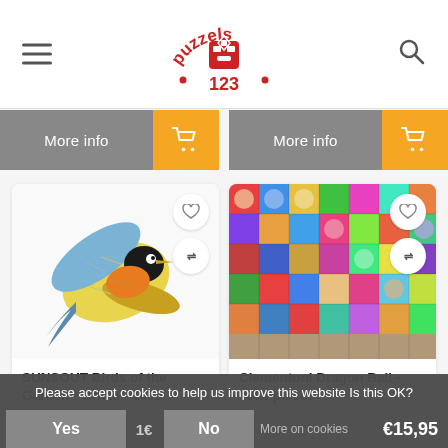puzzels123 — website header with hamburger menu, logo, and search icon
[Figure (screenshot): Two 'More info' + cart button bars side by side in gray and orange]
[Figure (photo): SUNSOUT Birds of the Garden - Oriole puzzle image: colorful bird made of collage flying]
SUNSOUT Birds of the Garden - Oriole - 1000
[Figure (photo): Clementoni Dragon Ball puzzle image: colorful dense crowd of Dragon Ball characters]
Clementoni Dragon Ball - 1000 pieces
€15,95
Please accept cookies to help us improve this website Is this OK?
Yes    18    No    More on cookies    €15,95